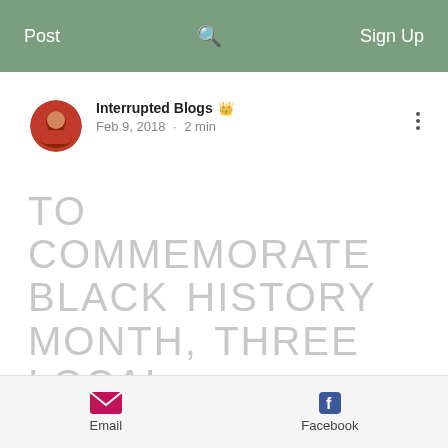Post  Sign Up
Interrupted Blogs · Feb 9, 2018 · 2 min
TO COMMEMORATE BLACK HISTORY MONTH, THREE LOCAL ORGANIZATIONS TEAMED UP TO TAKE 50 TEENAGE MALES FRO
Email  Facebook